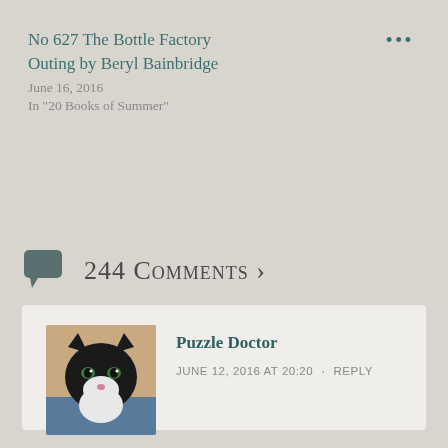No 627 The Bottle Factory Outing by Beryl Bainbridge
June 16, 2016
In "20 Books of Summer"
244 COMMENTS ›
[Figure (photo): Avatar photo of a black and white cat]
Puzzle Doctor
JUNE 12, 2016 AT 20:20  ·  REPLY
Found this via Cleopatra Loves Books – sounds like fun. Count me in.